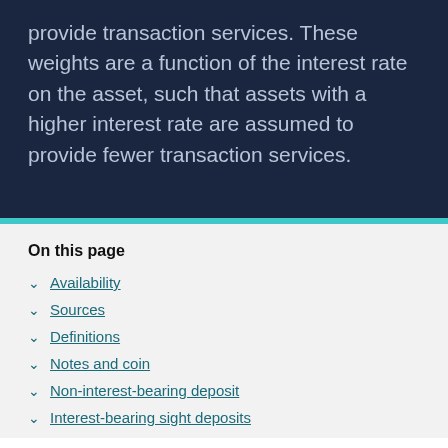provide transaction services. These weights are a function of the interest rate on the asset, such that assets with a higher interest rate are assumed to provide fewer transaction services.
On this page
Availability
Sources
Definitions
Notes and coin
Non-interest-bearing deposit
Interest-bearing sight deposits